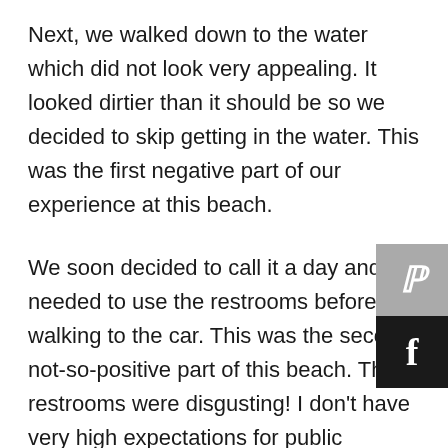Next, we walked down to the water which did not look very appealing. It looked dirtier than it should be so we decided to skip getting in the water. This was the first negative part of our experience at this beach.
We soon decided to call it a day and needed to use the restrooms before walking to the car. This was the second not-so-positive part of this beach. The restrooms were disgusting! I don't have very high expectations for public restrooms in general, especially beach ones, but these were especially dirty. The stalls did not have doors and most did not have any toilet paper. You know it's bad when even your two
[Figure (illustration): Pinterest and Facebook social share icon buttons overlaid on the right side of the page]